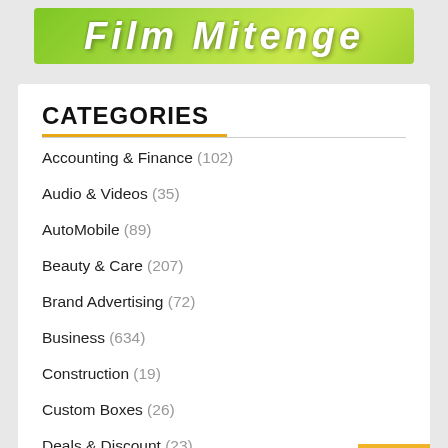[Figure (logo): Green gradient banner with italic bold white text reading 'Film Mitenge' or similar styled text]
CATEGORIES
Accounting & Finance (102)
Audio & Videos (35)
AutoMobile (89)
Beauty & Care (207)
Brand Advertising (72)
Business (634)
Construction (19)
Custom Boxes (26)
Deals & Discount (23)
Digital Marketing (198)